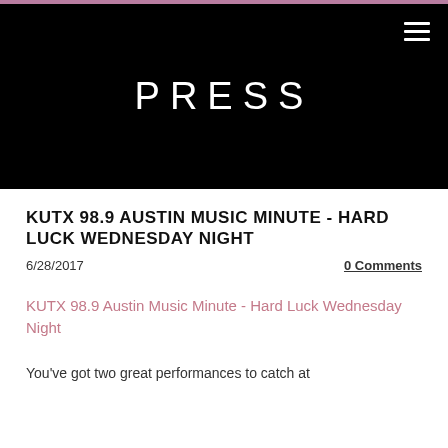PRESS
KUTX 98.9 AUSTIN MUSIC MINUTE - HARD LUCK WEDNESDAY NIGHT
6/28/2017
0 Comments
KUTX 98.9 Austin Music Minute - Hard Luck Wednesday Night
You've got two great performances to catch at